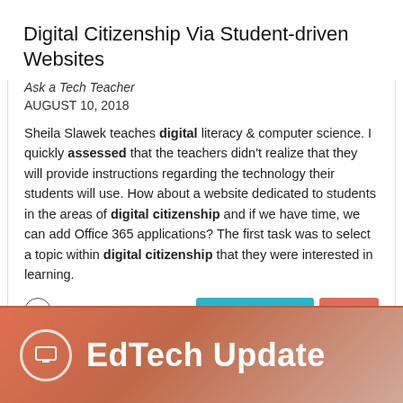Digital Citizenship Via Student-driven Websites
Ask a Tech Teacher
AUGUST 10, 2018
Sheila Slawek teaches digital literacy & computer science. I quickly assessed that the teachers didn't realize that they will provide instructions regarding the technology their students will use. How about a website dedicated to students in the areas of digital citizenship and if we have time, we can add Office 365 applications? The first task was to select a topic within digital citizenship that they were interested in learning.
[Figure (other): Bottom banner with coral/salmon background showing a monitor icon in a circle and text 'EdTech Update']